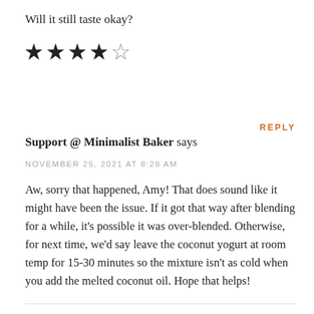Will it still taste okay?
[Figure (other): 4 out of 5 star rating: four filled black stars and one empty/outline star]
REPLY
Support @ Minimalist Baker says
NOVEMBER 25, 2021 AT 8:28 AM
Aw, sorry that happened, Amy! That does sound like it might have been the issue. If it got that way after blending for a while, it's possible it was over-blended. Otherwise, for next time, we'd say leave the coconut yogurt at room temp for 15-30 minutes so the mixture isn't as cold when you add the melted coconut oil. Hope that helps!